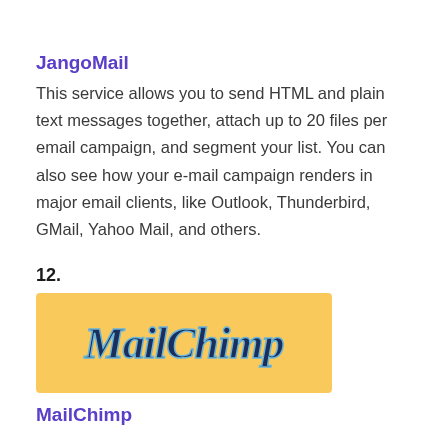JangoMail
This service allows you to send HTML and plain text messages together, attach up to 20 files per email campaign, and segment your list. You can also see how your e-mail campaign renders in major email clients, like Outlook, Thunderbird, GMail, Yahoo Mail, and others.
12.
[Figure (logo): MailChimp logo on a golden/yellow background with cursive script text reading 'MailChimp']
MailChimp